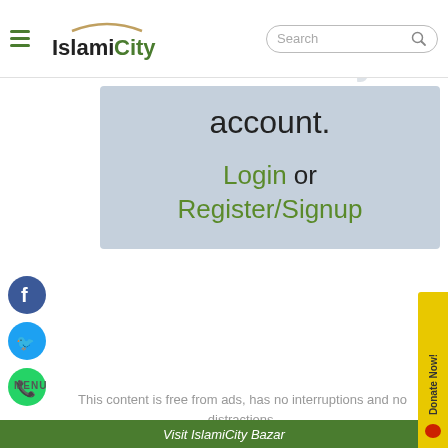IslamiCity — Navigation bar with hamburger menu, logo, and search bar
please signup for a FREE IslamiCity
account.
Login or Register/Signup
This content is free from ads, has no interruptions and no distractions.
This page is part of a series.
Visit IslamiCity Bazar